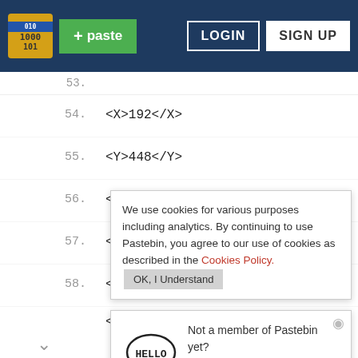Pastebin - LOGIN SIGN UP
<X>192</X>
<Y>448</Y>
<W
<H
<L
<X
[Figure (screenshot): Cookie consent notice: 'We use cookies for various purposes including analytics. By continuing to use Pastebin, you agree to our use of cookies as described in the Cookies Policy. OK, I Understand button']
[Figure (screenshot): Hello popup: speech bubble with HELLO text, 'Not a member of Pastebin yet? Sign Up, it unlocks many cool features!']
[Figure (screenshot): Petco ad: In-store shopping, Curbside pickup]